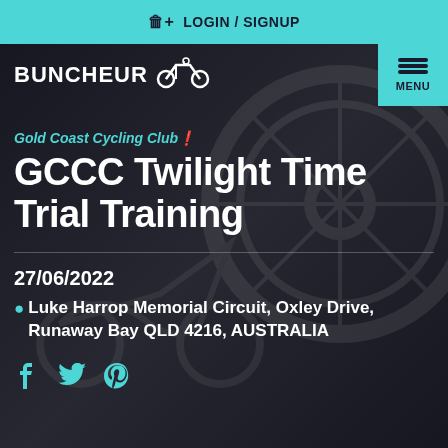LOGIN / SIGNUP
[Figure (screenshot): Buncheur cycling website screenshot showing navigation bar with logo and menu button over a dark background photo of bicycle components]
Gold Coast Cycling Club
GCCC Twilight Time Trial Training
27/06/2022
Luke Harrop Memorial Circuit, Oxley Drive, Runaway Bay QLD 4216, AUSTRALIA
[Figure (infographic): Social media icons: Facebook, Twitter, Pinterest in teal color]